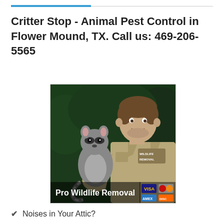Critter Stop - Animal Pest Control in Flower Mound, TX. Call us: 469-206-5565
[Figure (photo): A wildlife removal technician in a khaki uniform holding a raccoon, with text 'Pro Wildlife Removal' and credit card logos at the bottom of the image.]
Noises in Your Attic?
Unwanted Wildlife?
Bird or Bat Problem?
Rodent Infestation?